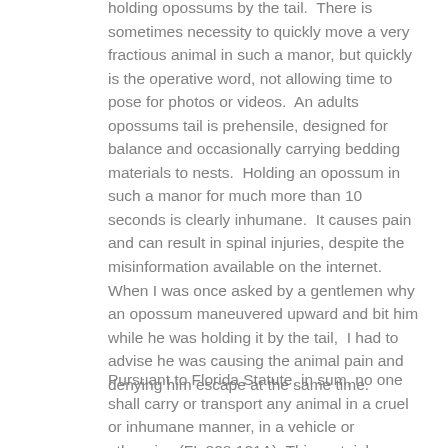holding opossums by the tail.  There is sometimes necessity to quickly move a very fractious animal in such a manor, but quickly is the operative word, not allowing time to pose for photos or videos.  An adults opossums tail is prehensile, designed for balance and occasionally carrying bedding materials to nests.  Holding an opossum in such a manor for much more than 10 seconds is clearly inhumane.  It causes pain and can result in spinal injuries, despite the misinformation available on the internet.  When I was once asked by a gentlemen why an opossum maneuvered upward and bit him while he was holding it by the tail,  I had to advise he was causing the animal pain and denying him escape at the same time.
Pursuant to Florida Statute, in sum, no one shall carry or transport any animal in a cruel or inhumane manner, in a vehicle or otherwise (FL 828.121A). This certainly applies in this situation.  Important to note as well contained wildlife is stressed therefore unable to regulate body